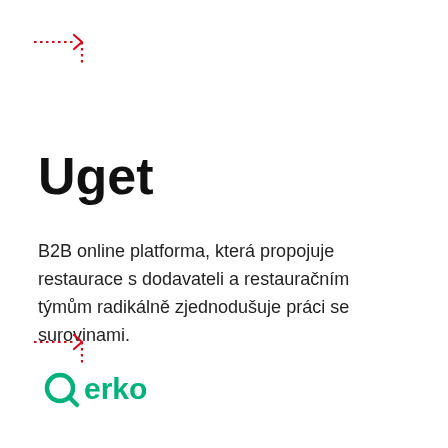[Figure (illustration): Red dotted arrow decoration in top-left corner]
Uget
B2B online platforma, která propojuje restaurace s dodavateli a restauračním týmům radikálně zjednodušuje práci se surovinami.
[Figure (illustration): Red dotted arrow decoration below text block]
[Figure (logo): Qerko logo in green at bottom-left]